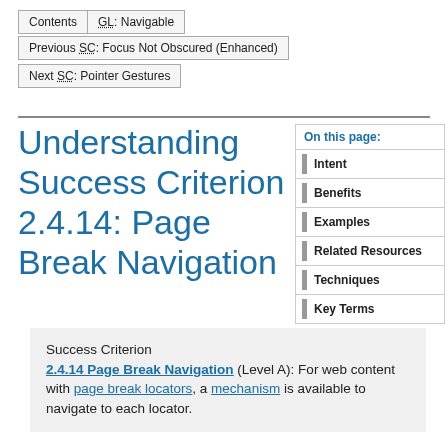Contents  GL: Navigable
Previous SC: Focus Not Obscured (Enhanced)
Next SC: Pointer Gestures
Understanding Success Criterion 2.4.14: Page Break Navigation
| On this page: |
| --- |
| Intent |
| Benefits |
| Examples |
| Related Resources |
| Techniques |
| Key Terms |
Success Criterion 2.4.14 Page Break Navigation (Level A): For web content with page break locators, a mechanism is available to navigate to each locator.